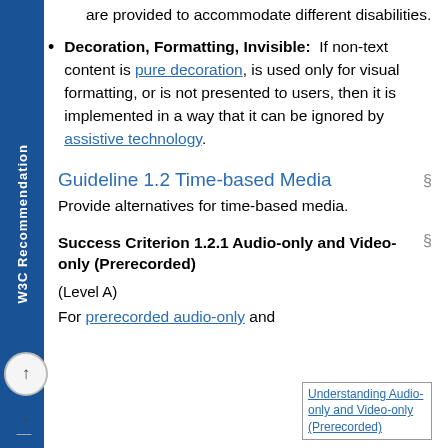W3C Recommendation
are provided to accommodate different disabilities.
Decoration, Formatting, Invisible: If non-text content is pure decoration, is used only for visual formatting, or is not presented to users, then it is implemented in a way that it can be ignored by assistive technology.
Guideline 1.2 Time-based Media
Provide alternatives for time-based media.
Success Criterion 1.2.1 Audio-only and Video-only (Prerecorded)
(Level A)
For prerecorded audio-only and
Understanding Audio-only and Video-only (Prerecorded)